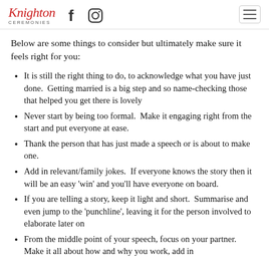Knighton Ceremonies [logo with social icons and hamburger menu]
Below are some things to consider but ultimately make sure it feels right for you:
It is still the right thing to do, to acknowledge what you have just done.  Getting married is a big step and so name-checking those that helped you get there is lovely
Never start by being too formal.  Make it engaging right from the start and put everyone at ease.
Thank the person that has just made a speech or is about to make one.
Add in relevant/family jokes.  If everyone knows the story then it will be an easy 'win' and you'll have everyone on board.
If you are telling a story, keep it light and short.  Summarise and even jump to the 'punchline', leaving it for the person involved to elaborate later on
From the middle point of your speech, focus on your partner.  Make it all about how and why you work, add in